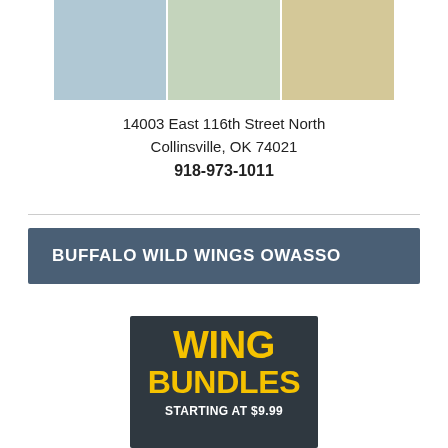[Figure (photo): Three-panel photo collage of a daycare or childcare facility showing classroom areas with small tables and chairs, play areas, and cribs/baby furniture]
14003 East 116th Street North
Collinsville, OK 74021
918-973-1011
BUFFALO WILD WINGS OWASSO
[Figure (photo): Buffalo Wild Wings promotional advertisement showing 'WING BUNDLES STARTING AT $9.99' in yellow and white bold text on a dark background]